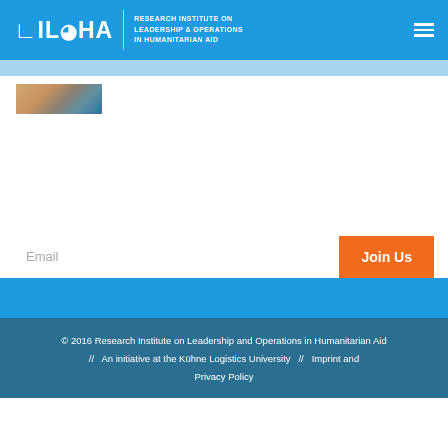RILOHA — RESEARCH INSTITUTE ON LEADERSHIP & OPERATIONS IN HUMANITARIAN AID
[Figure (photo): Small thumbnail photo of people in humanitarian context]
NEWSLETTER
Interested in topics at the cross-section of leadership and humanitarian operations? Sign up for our newsletter to be up to date with newest research, events, and other interesting items.
© 2016 Research Institute on Leadership and Operations in Humanitarian Aid // An initiative at the Kühne Logistics University // Imprint and Privacy Policy